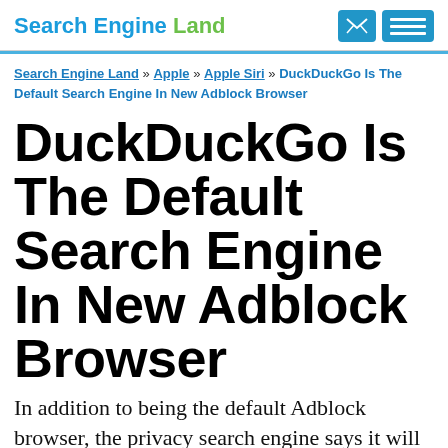Search Engine Land
Search Engine Land » Apple » Apple Siri » DuckDuckGo Is The Default Search Engine In New Adblock Browser
DuckDuckGo Is The Default Search Engine In New Adblock Browser
In addition to being the default Adblock browser, the privacy search engine says it will sign the "Acceptable Ads Manifesto."